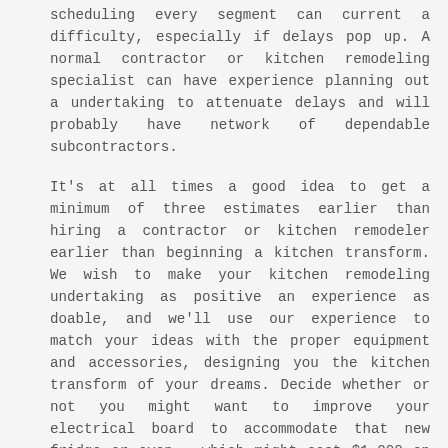scheduling every segment can current a difficulty, especially if delays pop up. A normal contractor or kitchen remodeling specialist can have experience planning out a undertaking to attenuate delays and will probably have network of dependable subcontractors.
It's at all times a good idea to get a minimum of three estimates earlier than hiring a contractor or kitchen remodeler earlier than beginning a kitchen transform. We wish to make your kitchen remodeling undertaking as positive an experience as doable, and we'll use our experience to match your ideas with the proper equipment and accessories, designing you the kitchen transform of your dreams. Decide whether or not you might want to improve your electrical board to accommodate that new fridge or oven – which might cost $1,000 on common. We tried contacting the producer with out luck, and eventually found a local glass store that will remove the double glass, replace it and reseal it. The formerly fogged windows seemed like